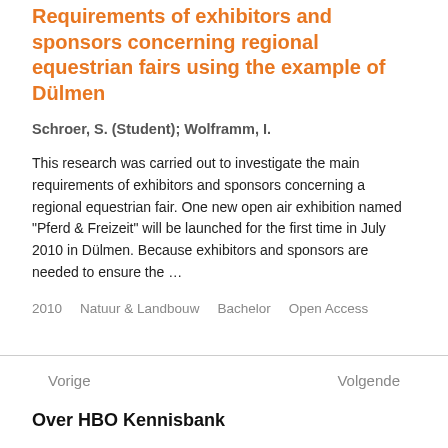Requirements of exhibitors and sponsors concerning regional equestrian fairs using the example of Dülmen
Schroer, S. (Student); Wolframm, I.
This research was carried out to investigate the main requirements of exhibitors and sponsors concerning a regional equestrian fair. One new open air exhibition named "Pferd & Freizeit" will be launched for the first time in July 2010 in Dülmen. Because exhibitors and sponsors are needed to ensure the ...
2010    Natuur & Landbouw    Bachelor    Open Access
Vorige
Volgende
Over HBO Kennisbank